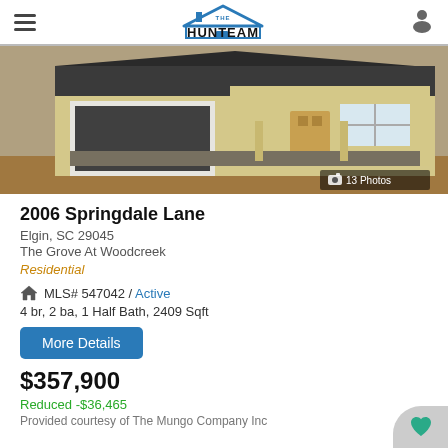THE HUNTEAM
[Figure (photo): Front exterior photo of a new construction home at 2006 Springdale Lane, Elgin SC. Yellow siding, dark roof, open two-car garage, front porch with columns. Shows 13 Photos badge.]
2006 Springdale Lane
Elgin, SC 29045
The Grove At Woodcreek
Residential
MLS# 547042 / Active
4 br, 2 ba, 1 Half Bath, 2409 Sqft
More Details
$357,900
Reduced -$36,465
Provided courtesy of The Mungo Company Inc